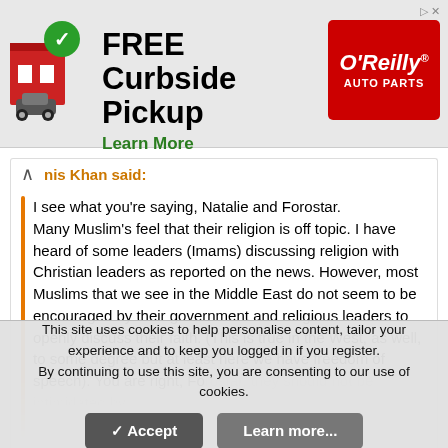[Figure (infographic): O'Reilly Auto Parts ad banner: FREE Curbside Pickup, Learn More, with building/car icon and O'Reilly Auto Parts logo]
nis Khan said:
I see what you're saying, Natalie and Forostar. Many Muslim's feel that their religion is off topic.  I have heard of some leaders (Imams) discussing religion with Christian leaders as reported on the news.  However, most Muslims that we see in the Middle East do not seem to be encouraged by their government and religious leaders to openly discuss their faith.  (This is true in the West, as well, to some degree but at least here we have freedom of speech).  You are right, Forostar, they should not be intimidated by
Click to expand...
It's Epica's 'Seif al Din'.  I would like to point out at this time that Mark Jansen of Epica has professed a great interest in Eastern Culture and religion, which comes through on his two albums
This site uses cookies to help personalise content, tailor your experience and to keep you logged in if you register.
By continuing to use this site, you are consenting to our use of cookies.